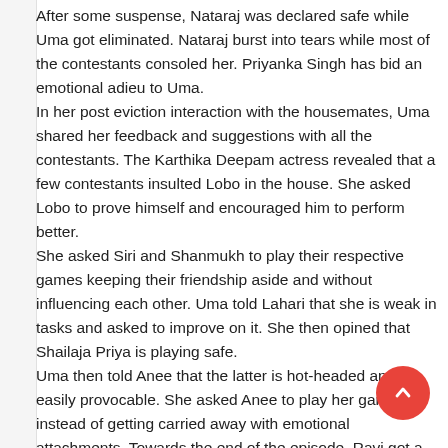After some suspense, Nataraj was declared safe while Uma got eliminated. Nataraj burst into tears while most of the contestants consoled her. Priyanka Singh has bid an emotional adieu to Uma. In her post eviction interaction with the housemates, Uma shared her feedback and suggestions with all the contestants. The Karthika Deepam actress revealed that a few contestants insulted Lobo in the house. She asked Lobo to prove himself and encouraged him to perform better. She asked Siri and Shanmukh to play their respective games keeping their friendship aside and without influencing each other. Uma told Lahari that she is weak in tasks and asked to improve on it. She then opined that Shailaja Priya is playing safe. Uma then told Anee that the latter is hot-headed and easily provocable. She asked Anee to play her game instead of getting carried away with emotional attachments. Towards the end of the episode, Ravi got a birthday surprise from Bigg Boss. He got emotional as Kajal read out his heartwarming